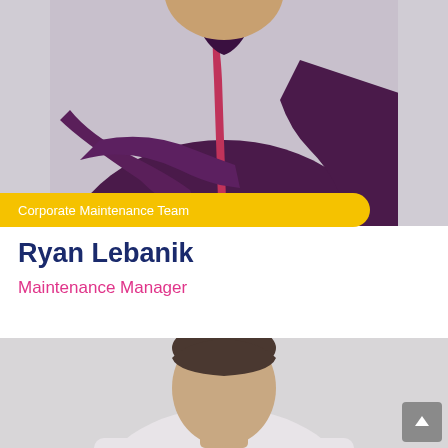[Figure (photo): Person wearing a dark purple zip-up jacket with arms crossed, photographed against a light grey background. Image is cropped from mid-torso upward.]
Corporate Maintenance Team
Ryan Lebanik
Maintenance Manager
[Figure (photo): Partial photo of a second person with short dark hair, visible from shoulders up, against a light grey background. Image is cut off at the bottom of the page.]